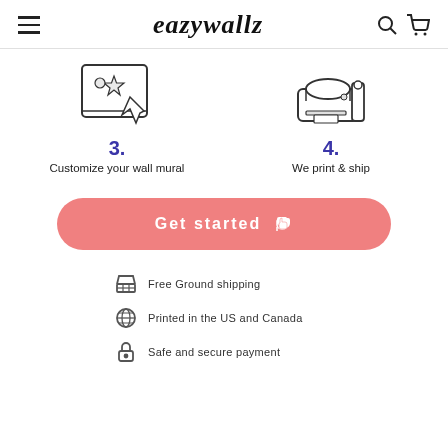eazywallz
[Figure (illustration): Step 3 icon: a tablet/screen with a star and cursor tool, representing customization of a wall mural]
3.
Customize your wall mural
[Figure (illustration): Step 4 icon: a large format printer, representing printing and shipping]
4.
We print & ship
[Figure (illustration): Get started button with thumbs up icon]
Free Ground shipping
Printed in the US and Canada
Safe and secure payment